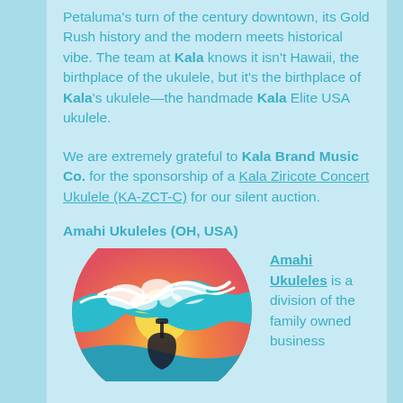Petaluma's turn of the century downtown, its Gold Rush history and the modern meets historical vibe. The team at Kala knows it isn't Hawaii, the birthplace of the ukulele, but it's the birthplace of Kala's ukulele—the handmade Kala Elite USA ukulele.
We are extremely grateful to Kala Brand Music Co. for the sponsorship of a Kala Ziricote Concert Ukulele (KA-ZCT-C) for our silent auction.
Amahi Ukuleles (OH, USA)
[Figure (logo): Circular logo with a colorful wave design featuring teal/turquoise wave, orange and pink sunset gradient background, white foam, and what appears to be a ukulele silhouette at the bottom.]
Amahi Ukuleles is a division of the family owned business